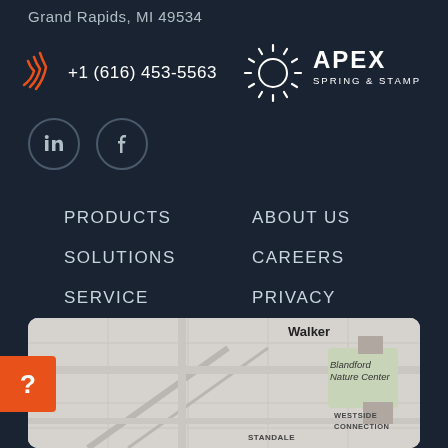Grand Rapids, MI 49534
+1 (616) 453-5563
[Figure (logo): Apex Spring & Stamping logo with sunburst icon]
[Figure (other): LinkedIn circle icon and Facebook circle icon]
PRODUCTS
ABOUT US
SOLUTIONS
CAREERS
SERVICE
PRIVACY
REQUEST A QUOTE
SITEMAP
[Figure (map): Street map showing Walker area, Blandford Nature Center, Westside Connection, Standale in Grand Rapids MI]